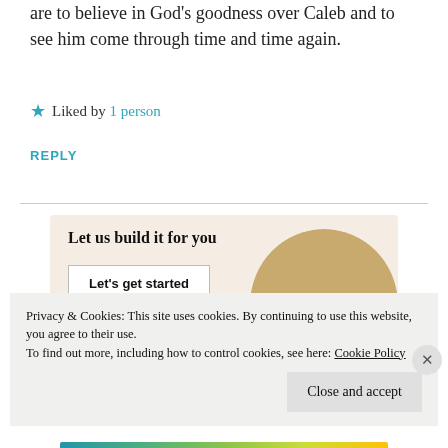are to believe in God's goodness over Caleb and to see him come through time and time again.
★ Liked by 1 person
REPLY
[Figure (infographic): WordPress promotional banner: 'Let us build it for you' with a 'Let's get started' button and a circular photo of hands typing on a laptop.]
Privacy & Cookies: This site uses cookies. By continuing to use this website, you agree to their use.
To find out more, including how to control cookies, see here: Cookie Policy
Close and accept